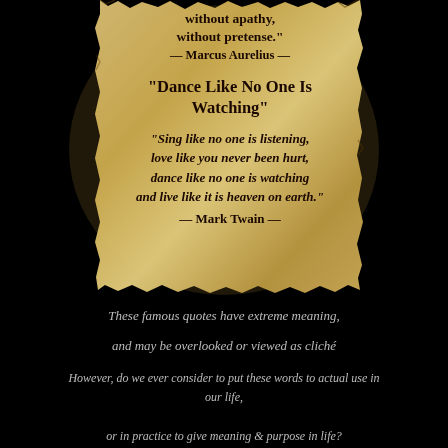[Figure (illustration): Aged parchment scroll with torn edges, containing two quotes: a Marcus Aurelius quote (partially shown, 'without apathy, without pretense.') and a Mark Twain quote titled 'Dance Like No One Is Watching'. Black background surrounds the scroll.]
These famous quotes have extreme meaning,
and may be overlooked or viewed as cliché
However, do we ever consider to put these words to actual use in our life,
or in practice to give meaning & purpose in life?